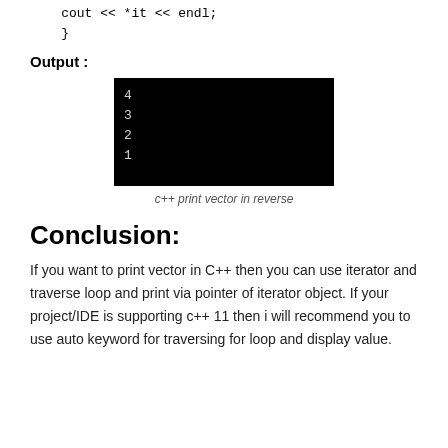cout << *it << endl;
    }
Output :
[Figure (screenshot): Terminal output showing numbers 4, 3, 2, 1 printed in white text on black background.]
c++ print vector in reverse
Conclusion:
If you want to print vector in C++ then you can use iterator and traverse loop and print via pointer of iterator object. If your project/IDE is supporting c++ 11 then i will recommend you to use auto keyword for traversing for loop and display value.